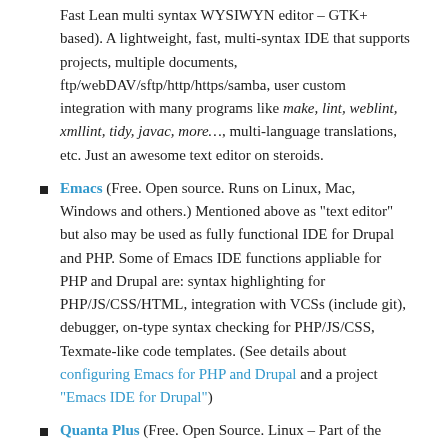Fast Lean multi syntax WYSIWYN editor – GTK+ based). A lightweight, fast, multi-syntax IDE that supports projects, multiple documents, ftp/webDAV/sftp/http/https/samba, user custom integration with many programs like make, lint, weblint, xmllint, tidy, javac, more…, multi-language translations, etc. Just an awesome text editor on steroids.
Emacs (Free. Open source. Runs on Linux, Mac, Windows and others.) Mentioned above as "text editor" but also may be used as fully functional IDE for Drupal and PHP. Some of Emacs IDE functions appliable for PHP and Drupal are: syntax highlighting for PHP/JS/CSS/HTML, integration with VCSs (include git), debugger, on-type syntax checking for PHP/JS/CSS, Texmate-like code templates. (See details about configuring Emacs for PHP and Drupal and a project "Emacs IDE for Drupal")
Quanta Plus (Free. Open Source. Linux – Part of the KDE environment).
Geany (Free. Open Source. POSIX > GTk+. Linux...